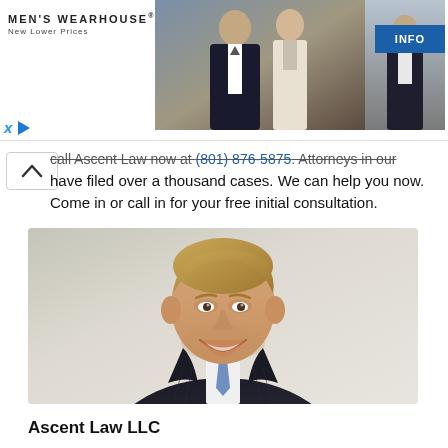[Figure (screenshot): Men's Wearhouse advertisement banner with wedding couple photo and INFO button]
call Ascent Law now at (801) 876-5875. Attorneys in our office have filed over a thousand cases. We can help you now. Come in or call in for your free initial consultation.
[Figure (photo): Professional headshot of a smiling man in a dark pinstripe suit with a light blue tie, against a light gray background]
Ascent Law LLC